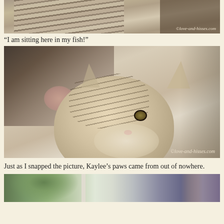[Figure (photo): Partial view of a tabby cat from above, showing striped fur. Watermark reads: ©love-and-hisses.com]
“I am sitting here in my fish!”
[Figure (photo): Close-up photo of a young tabby kitten with one eye closed, being batted by another cat's dark paw coming from upper left. Watermark reads: ©love-and-hisses.com]
Just as I snapped the picture, Kaylee’s paws came from out of nowhere.
[Figure (photo): Partial view of a window scene with green trees visible outside and indoor furniture.]